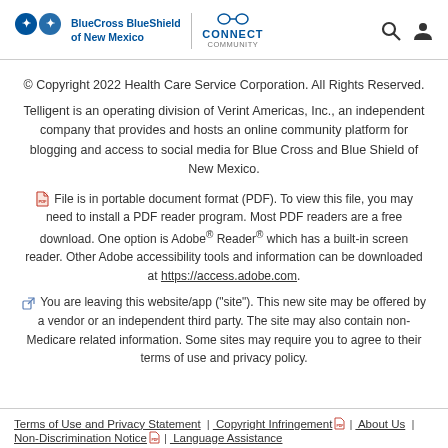BlueCross BlueShield of New Mexico | CONNECT COMMUNITY
© Copyright 2022 Health Care Service Corporation. All Rights Reserved.
Telligent is an operating division of Verint Americas, Inc., an independent company that provides and hosts an online community platform for blogging and access to social media for Blue Cross and Blue Shield of New Mexico.
File is in portable document format (PDF). To view this file, you may need to install a PDF reader program. Most PDF readers are a free download. One option is Adobe® Reader® which has a built-in screen reader. Other Adobe accessibility tools and information can be downloaded at https://access.adobe.com.
You are leaving this website/app ("site"). This new site may be offered by a vendor or an independent third party. The site may also contain non-Medicare related information. Some sites may require you to agree to their terms of use and privacy policy.
Terms of Use and Privacy Statement | Copyright Infringement | About Us | Non-Discrimination Notice | Language Assistance